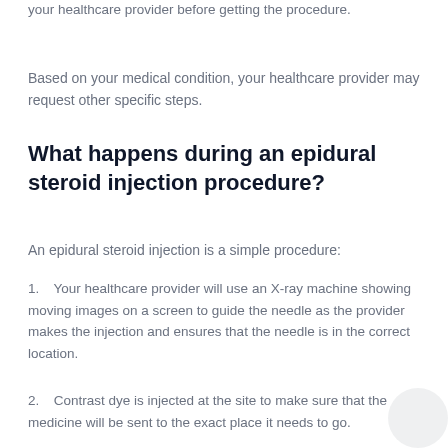your healthcare provider before getting the procedure.
Based on your medical condition, your healthcare provider may request other specific steps.
What happens during an epidural steroid injection procedure?
An epidural steroid injection is a simple procedure:
Your healthcare provider will use an X-ray machine showing moving images on a screen to guide the needle as the provider makes the injection and ensures that the needle is in the correct location.
Contrast dye is injected at the site to make sure that the medicine will be sent to the exact place it needs to go.